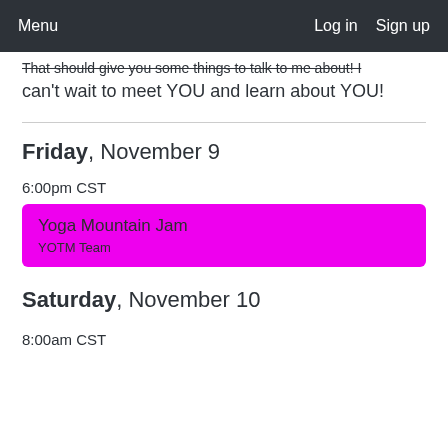Menu   Log in   Sign up
That should give you some things to talk to me about! I can't wait to meet YOU and learn about YOU!
Friday, November 9
6:00pm CST
Yoga Mountain Jam
YOTM Team
Saturday, November 10
8:00am CST